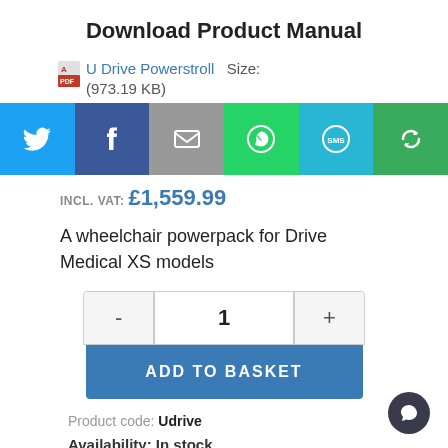Download Product Manual
U Drive Powerstroll  Size: (973.19 KB)
[Figure (infographic): Social sharing bar with Twitter, Facebook, Email, WhatsApp, SMS, and Share buttons]
INCL. VAT: £1,559.99
A wheelchair powerpack for Drive Medical XS models
[Figure (other): Quantity selector showing - 1 + and ADD TO BASKET button]
Product code: Udrive
Availability: In stock